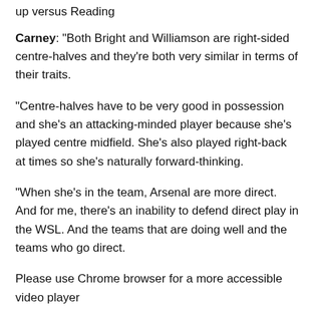up versus Reading
Carney: "Both Bright and Williamson are right-sided centre-halves and they're both very similar in terms of their traits.
"Centre-halves have to be very good in possession and she's an attacking-minded player because she's played centre midfield. She's also played right-back at times so she's naturally forward-thinking.
"When she's in the team, Arsenal are more direct. And for me, there's an inability to defend direct play in the WSL. And the teams that are doing well and the teams who go direct.
Please use Chrome browser for a more accessible video player